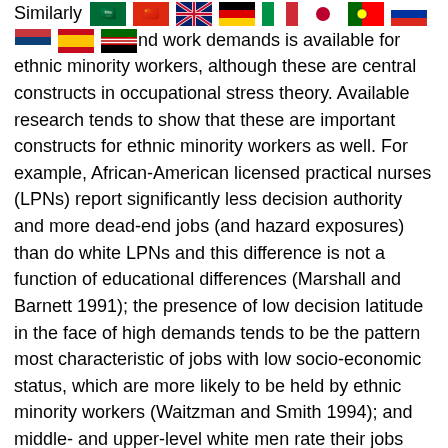Similarly [flags] nd work demands is available for ethnic minority workers, although these are central constructs in occupational stress theory. Available research tends to show that these are important constructs for ethnic minority workers as well. For example, African-American licensed practical nurses (LPNs) report significantly less decision authority and more dead-end jobs (and hazard exposures) than do white LPNs and this difference is not a function of educational differences (Marshall and Barnett 1991); the presence of low decision latitude in the face of high demands tends to be the pattern most characteristic of jobs with low socio-economic status, which are more likely to be held by ethnic minority workers (Waitzman and Smith 1994); and middle- and upper-level white men rate their jobs consistently higher than their ethnic minority (and female) peers on six work design factors (Fernandez 1981).
Thus, it appears that many research questions remain